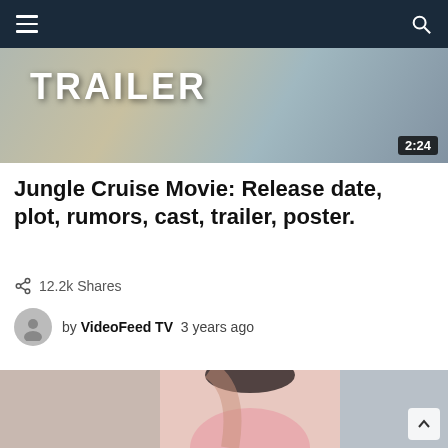Navigation bar with hamburger menu and search icon
[Figure (screenshot): Video thumbnail showing the word TRAILER in large white bold letters with a duration badge showing 2:24 in the bottom right corner]
Jungle Cruise Movie: Release date, plot, rumors, cast, trailer, poster.
12.2k Shares
by VideoFeed TV  3 years ago
[Figure (photo): Photo of a young woman with dark hair wearing a pink crop top and white pants, with tattoos on her arm, standing indoors]